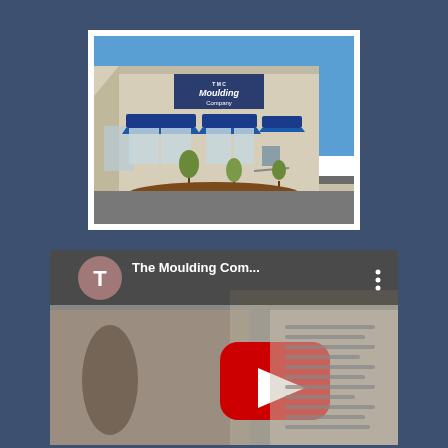[Figure (photo): Exterior photo of The Moulding Company building — a large beige commercial building with blue awnings, blue signage reading 'The Moulding Company', small trees and brown mulch landscaping in front, under a clear blue sky.]
[Figure (screenshot): YouTube video thumbnail for 'The Moulding Com...' channel. Shows a mauve/pink circular avatar with letter T, video title text, three-dot menu icon, and a red YouTube play button in the center over a blurred background image of the moulding company interior/exterior.]